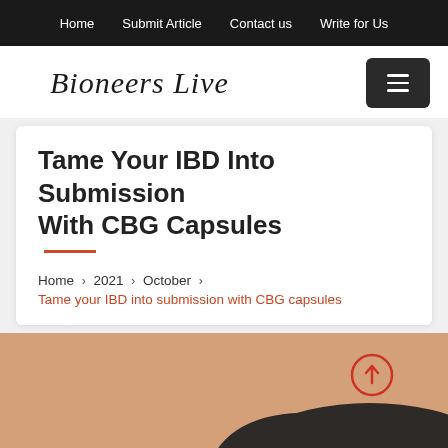Home   Submit Article   Contact us   Write for Us
Bioneers Live
Tame Your IBD Into Submission With CBG Capsules
Home > 2021 > October > Tame your IBD into submission with CBG capsules
[Figure (photo): Partial view of a person's lower back/torso against a light peach/tan background, with a small red circle arrow icon in the upper right area of the image.]